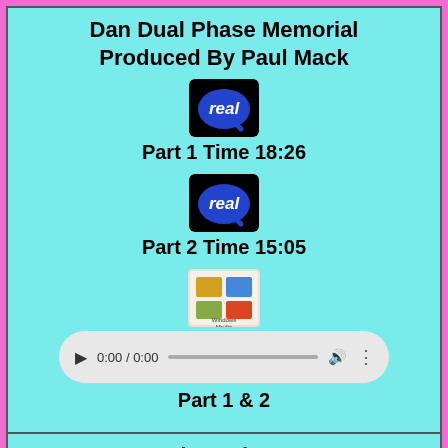Dan Dual Phase Memorial Produced By Paul Mack
[Figure (other): RealPlayer logo badge (black background with 'real' speech bubble icon)]
Part 1  Time 18:26
[Figure (other): RealPlayer logo badge (black background with 'real' speech bubble icon)]
Part 2 Time 15:05
[Figure (other): Windows Media Player logo badge]
[Figure (other): HTML5 audio player showing 0:00 / 0:00]
Part 1 & 2
Dan & His Casio VL-Tone and Multi-Track
Most of the tunes are from Disney, includes Dual Phase shout. Second piece is from "Knott's Berry Tales"
[Figure (other): RealPlayer and Windows Media Player logos at bottom]